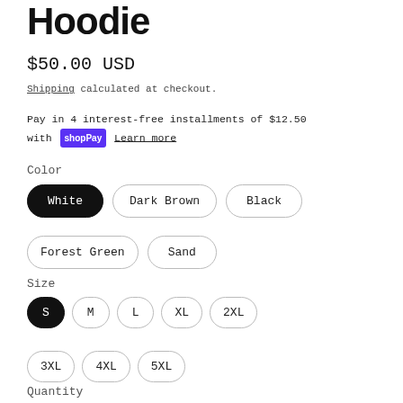Hoodie
$50.00 USD
Shipping calculated at checkout.
Pay in 4 interest-free installments of $12.50 with shopPay Learn more
Color
White
Dark Brown
Black
Forest Green
Sand
Size
S
M
L
XL
2XL
3XL
4XL
5XL
Quantity